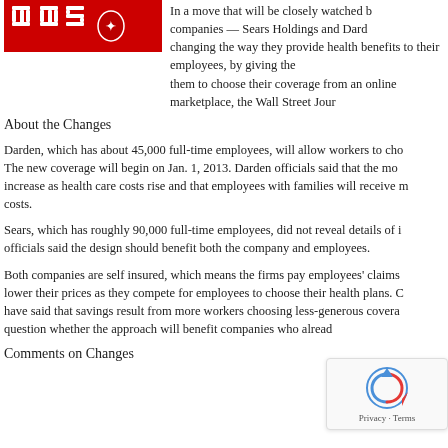[Figure (logo): HHS logo on red background]
In a move that will be closely watched by companies — Sears Holdings and Dard changing the way they provide health benefits to their employees, by giving the them to choose their coverage from an online marketplace, the Wall Street Jour
About the Changes
Darden, which has about 45,000 full-time employees, will allow workers to cho The new coverage will begin on Jan. 1, 2013. Darden officials said that the mo increase as health care costs rise and that employees with families will receive costs.
Sears, which has roughly 90,000 full-time employees, did not reveal details of i officials said the design should benefit both the company and employees.
Both companies are self insured, which means the firms pay employees' claims lower their prices as they compete for employees to choose their health plans. C have said that savings result from more workers choosing less-generous covera question whether the approach will benefit companies who alread
Comments on Changes